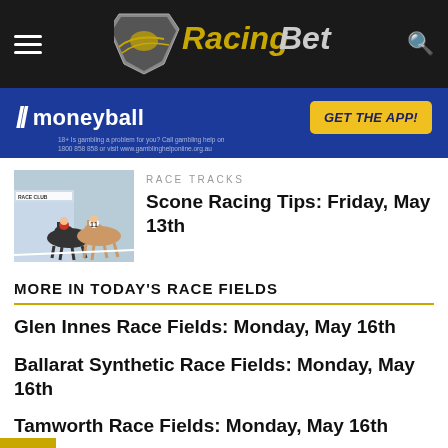RacingBet
[Figure (screenshot): Moneyball advertisement banner with GET THE APP! button]
[Figure (photo): Horse racing photo showing horses and jockeys mid-race near Race Club signage]
RACE TRACKS
Scone Racing Tips: Friday, May 13th
MORE IN TODAY'S RACE FIELDS
Glen Innes Race Fields: Monday, May 16th
Ballarat Synthetic Race Fields: Monday, May 16th
Tamworth Race Fields: Monday, May 16th